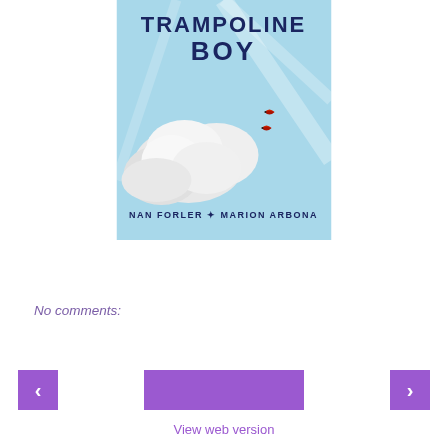[Figure (illustration): Book cover for 'Trampoline Boy' by Nan Forler and Marion Arbona. Light blue sky background with white cloud, two small red birds. Title text 'TRAMPOLINE BOY' in dark navy hand-lettered style at top.]
No comments:
[Figure (screenshot): Navigation bar with left arrow button (purple), center purple rectangle, and right arrow button (purple)]
View web version